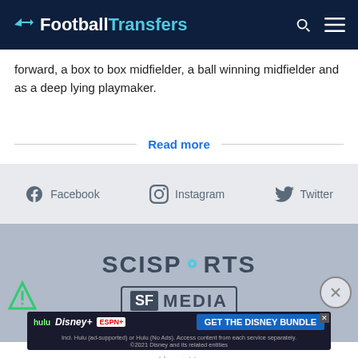FootballTransfers
forward, a box to box midfielder, a ball winning midfielder and as a deep lying playmaker.
Read more
Facebook   Instagram   Twitter
[Figure (logo): SCISPORTS logo]
[Figure (logo): SF MEDIA logo]
[Figure (screenshot): Disney Bundle advertisement banner with Hulu, Disney+, ESPN+ and GET THE DISNEY BUNDLE CTA]
About Us